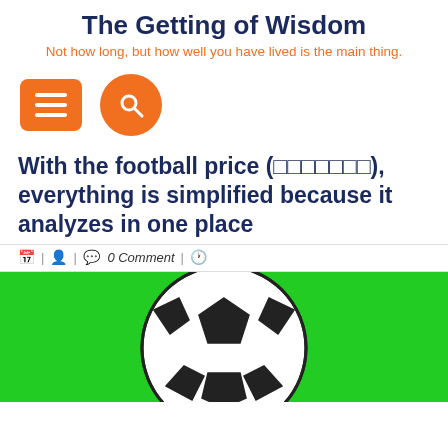The Getting of Wisdom
Not how long, but how well you have lived is the main thing.
With the football price (□□□□□□□), everything is simplified because it analyzes in one place
0 Comment
[Figure (photo): A soccer/football ball on a bright green background]